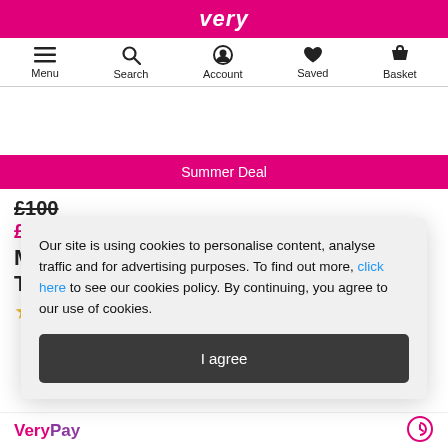very
[Figure (screenshot): Navigation bar with Menu, Search, Account, Saved, Basket icons]
[Figure (infographic): Summer Deal promotional banner (pink background)]
£100
£
M
T
★
Our site is using cookies to personalise content, analyse traffic and for advertising purposes. To find out more, click here to see our cookies policy. By continuing, you agree to our use of cookies.
I agree
VeryPay